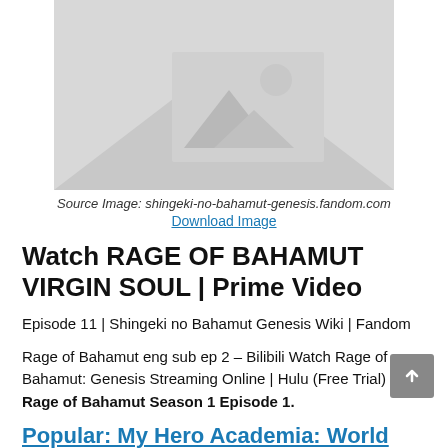[Figure (photo): Placeholder image with mountain/landscape icon on grey background]
Source Image: shingeki-no-bahamut-genesis.fandom.com
Download Image
Watch RAGE OF BAHAMUT VIRGIN SOUL | Prime Video
Episode 11 | Shingeki no Bahamut Genesis Wiki | Fandom
Rage of Bahamut eng sub ep 2 – Bilibili Watch Rage of Bahamut: Genesis Streaming Online | Hulu (Free Trial) Rage of Bahamut Season 1 Episode 1.
Popular:  My Hero Academia: World Heroes